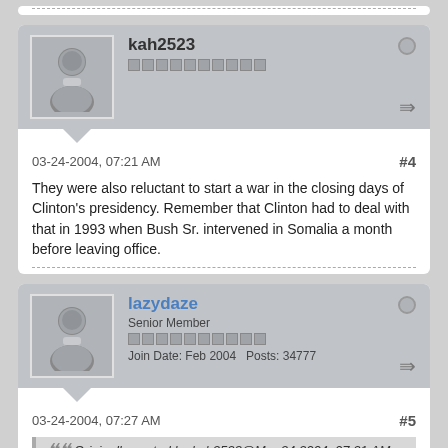[Figure (screenshot): Top of previous post, showing dashed divider line at bottom]
kah2523
03-24-2004, 07:21 AM  #4
They were also reluctant to start a war in the closing days of Clinton's presidency. Remember that Clinton had to deal with that in 1993 when Bush Sr. intervened in Somalia a month before leaving office.
lazydaze
Senior Member
Join Date: Feb 2004  Posts: 34777
03-24-2004, 07:27 AM  #5
Originally posted by kah2523@Mar 24 2004, 07:21 AM
They were also reluctant to start ...